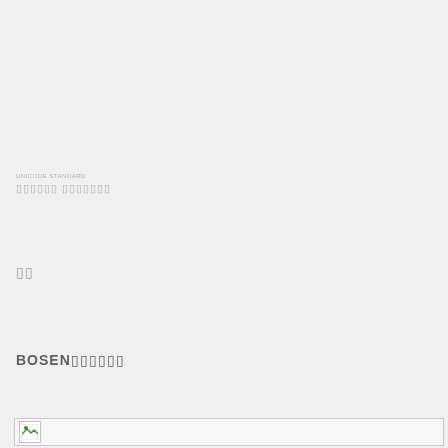UNICODE STANDARD
QQQQQQ QQQQQQQ
QQ
BOSENQQQQQQ
[Figure (other): Broken image placeholder at bottom of page]